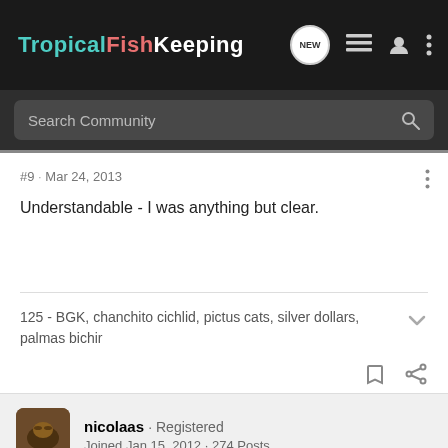TropicalFishKeeping
Search Community
#9 · Mar 24, 2013
Understandable - I was anything but clear.
125 - BGK, chanchito cichlid, pictus cats, silver dollars, palmas bichir
nicolaas · Registered
Joined Jan 15, 2012 · 274 Posts